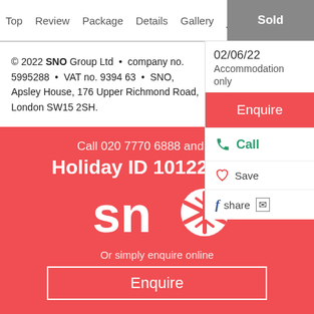Top  Review  Package  Details  Gallery  More ▾  Sold
© 2022 SNO Group Ltd • company no. 5995288 • VAT no. 9394 63 • SNO, Apsley House, 176 Upper Richmond Road, London SW15 2SH.
02/06/22 Accommodation only
Enquire
Call
Save
share
Call 020 7770 6888 and quote
Holiday ID 1012286547
[Figure (logo): SNO logo — white letters 'sno' with a snowflake replacing the 'o', on red background]
Or simply enquire online
Enquire